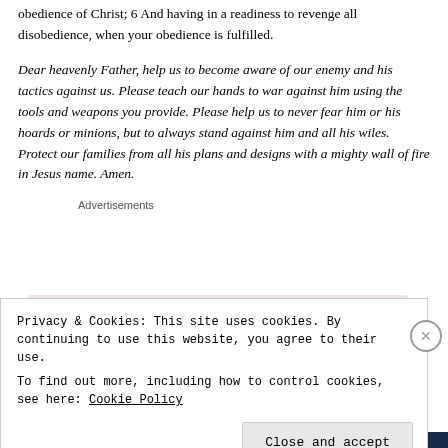obedience of Christ; 6 And having in a readiness to revenge all disobedience, when your obedience is fulfilled.
Dear heavenly Father, help us to become aware of our enemy and his tactics against us. Please teach our hands to war against him using the tools and weapons you provide. Please help us to never fear him or his hoards or minions, but to always stand against him and all his wiles. Protect our families from all his plans and designs with a mighty wall of fire in Jesus name. Amen.
Advertisements
Privacy & Cookies: This site uses cookies. By continuing to use this website, you agree to their use.
To find out more, including how to control cookies, see here: Cookie Policy
Close and accept